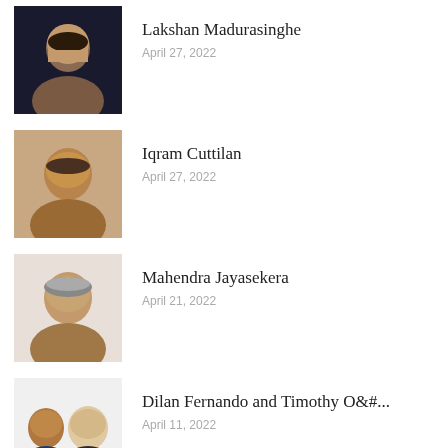Lakshan Madurasinghe
April 27, 2022
Iqram Cuttilan
April 27, 2022
Mahendra Jayasekera
April 21, 2022
Dilan Fernando and Timothy O&#...&
April 11, 2022
Ramesh Shanmuganathan
March 28, 2022